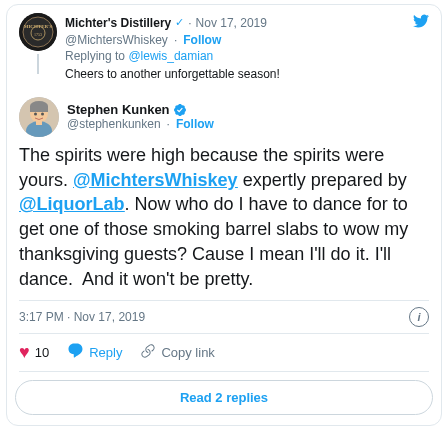Michter's Distillery @MichtersWhiskey · Nov 17, 2019 · Follow · Replying to @lewis_damian · Cheers to another unforgettable season!
Stephen Kunken @stephenkunken · Follow
The spirits were high because the spirits were yours. @MichtersWhiskey expertly prepared by @LiquorLab. Now who do I have to dance for to get one of those smoking barrel slabs to wow my thanksgiving guests? Cause I mean I'll do it. I'll dance.  And it won't be pretty.
3:17 PM · Nov 17, 2019
10  Reply  Copy link
Read 2 replies